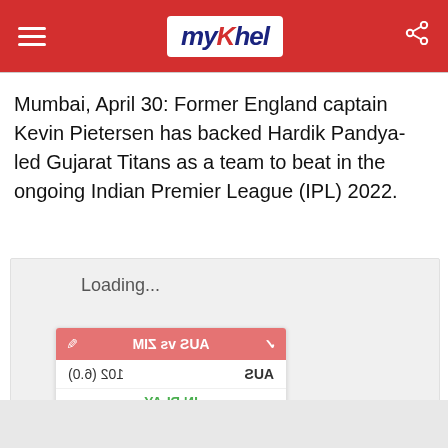myKhel
Mumbai, April 30: Former England captain Kevin Pietersen has backed Hardik Pandya-led Gujarat Titans as a team to beat in the ongoing Indian Premier League (IPL) 2022.
[Figure (screenshot): Loading widget with a mirrored cricket scorecard showing AUS vs ZIM match, AUS 102 (6.0), IN PLAY status]